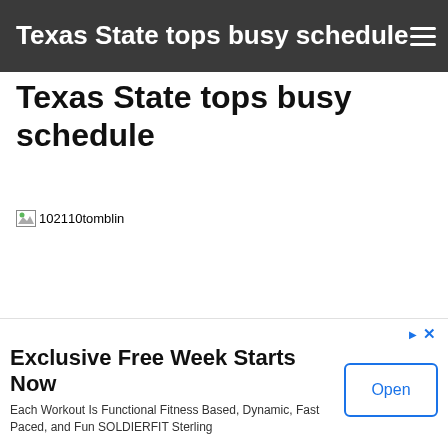Texas State tops busy schedule
Texas State tops busy schedule
[Figure (photo): Broken image placeholder labeled 102110tomblin]
Exclusive Free Week Starts Now
Each Workout Is Functional Fitness Based, Dynamic, Fast Paced, and Fun SOLDIERFIT Sterling